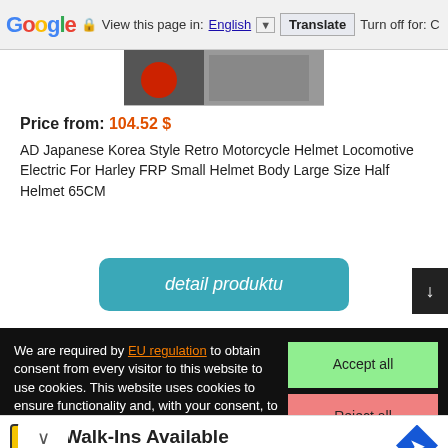Google — View this page in: English [▼] Translate | Turn off for: C
[Figure (photo): Partial product image of a motorcycle helmet, dark background]
Price from: 104.52 $
AD Japanese Korea Style Retro Motorcycle Helmet Locomotive Electric For Harley FRP Small Helmet Body Large Size Half Helmet 65CM
detail produktu
We are required by EU regulation to obtain consent from every visitor to this website to use cookies. This website uses cookies to ensure functionality and, with your consent, to personalise content and measure traffic, among other things. By clicking on the "Accept ion, you agree to the use of and to the transfer of website
Accept all
Reject all
Detailed settings
Walk-Ins Available
Hair Cuttery